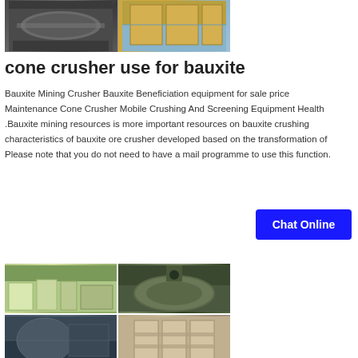[Figure (photo): Two industrial machinery photos side by side — left shows a large cylindrical mill/crusher in dark outdoor setting, right shows packaged/crated machinery in yellow/beige crating]
cone crusher use for bauxite
Bauxite Mining Crusher Bauxite Beneficiation equipment for sale price Maintenance Cone Crusher Mobile Crushing And Screening Equipment Health .Bauxite mining resources is more important resources on bauxite crushing characteristics of bauxite ore crusher developed based on the transformation of Please note that you do not need to have a mail programme to use this function.
[Figure (other): Button: Chat Online (blue rectangle with white text)]
[Figure (photo): Four photos of industrial crushing/milling machinery arranged in a 2x2 grid — showing various cone crushers and mill equipment in workshop and industrial settings]